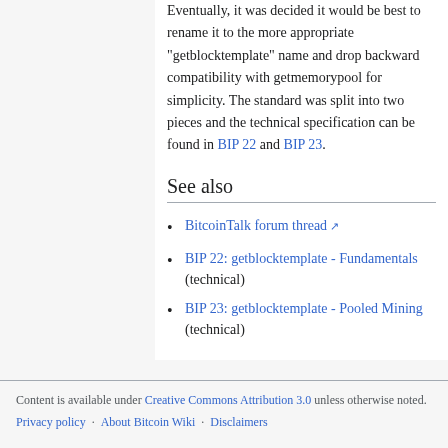Eventually, it was decided it would be best to rename it to the more appropriate "getblocktemplate" name and drop backward compatibility with getmemorypool for simplicity. The standard was split into two pieces and the technical specification can be found in BIP 22 and BIP 23.
See also
BitcoinTalk forum thread (external link)
BIP 22: getblocktemplate - Fundamentals (technical)
BIP 23: getblocktemplate - Pooled Mining (technical)
Content is available under Creative Commons Attribution 3.0 unless otherwise noted. Privacy policy · About Bitcoin Wiki · Disclaimers